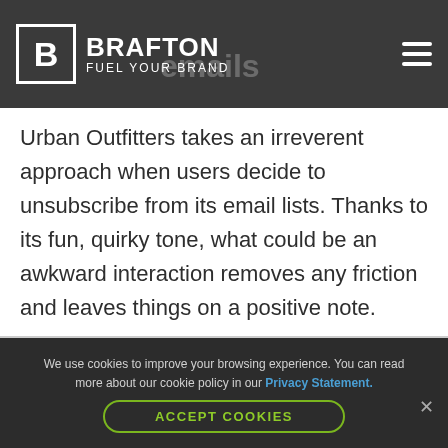BRAFTON FUEL YOUR BRAND
Urban Outfitters takes an irreverent approach when users decide to unsubscribe from its email lists. Thanks to its fun, quirky tone, what could be an awkward interaction removes any friction and leaves things on a positive note.
We use cookies to improve your browsing experience. You can read more about our cookie policy in our Privacy Statement. ACCEPT COOKIES